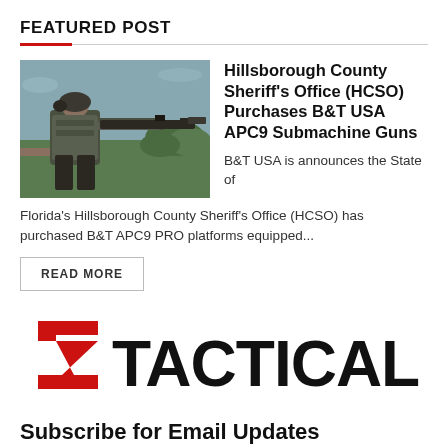FEATURED POST
[Figure (photo): Person in tactical gear aiming a submachine gun outdoors]
Hillsborough County Sheriff's Office (HCSO) Purchases B&T USA APC9 Submachine Guns
B&T USA is announces the State of Florida's Hillsborough County Sheriff's Office (HCSO) has purchased B&T APC9 PRO platforms equipped...
READ MORE
[Figure (logo): Tactical Life logo with red Z-shaped icon and bold black text]
Subscribe for Email Updates
Never miss the latest news and special offers.